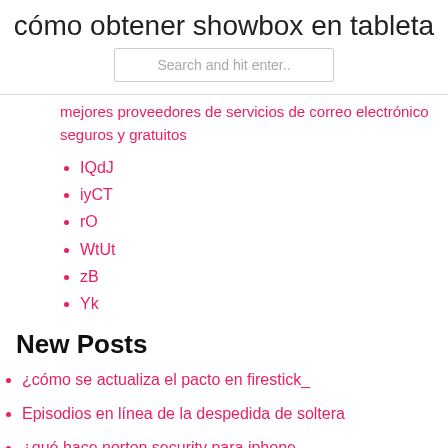cómo obtener showbox en tableta
Search and hit enter..
mejores proveedores de servicios de correo electrónico seguros y gratuitos
IQdJ
iyCT
rO
WtUt
zB
Yk
New Posts
¿cómo se actualiza el pacto en firestick_
Episodios en línea de la despedida de soltera
¿qué hace norton security para iphone_
Stream modern family canadá gratis